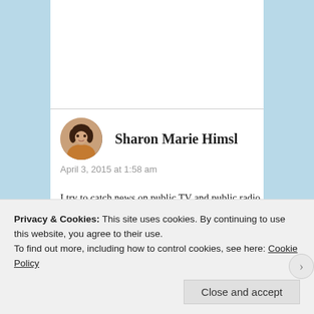[Figure (photo): Circular avatar photo of Sharon Marie Himsl, a woman with dark hair]
Sharon Marie Himsl
April 3, 2015 at 1:58 am
I try to catch news on public TV and public radio (I live in U.S.). It's not perfect but at least I don't have to deal with commercials too. I occasionally listen to local stations. I think it's wise to not depend on one source. We can't stick our heads in the sand and pretend nothing is happening in the world. I say if
Privacy & Cookies: This site uses cookies. By continuing to use this website, you agree to their use.
To find out more, including how to control cookies, see here: Cookie Policy
Close and accept